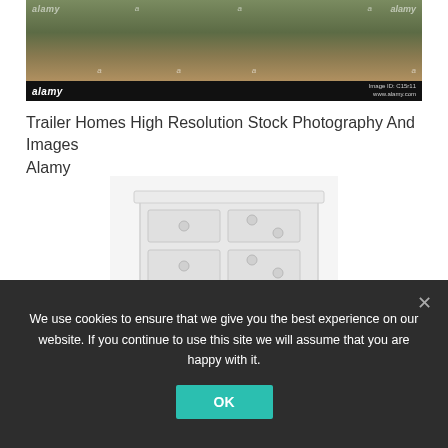[Figure (photo): Alamy stock photo showing a trailer home exterior with gravel/grass ground, with repeated 'alamy' and 'a' watermarks and a black bar at the bottom showing 'alamy' logo and image ID/URL]
Trailer Homes High Resolution Stock Photography And Images Alamy
[Figure (photo): A white chest of drawers with multiple drawers and round knob handles, shown on a white background, partially visible]
We use cookies to ensure that we give you the best experience on our website. If you continue to use this site we will assume that you are happy with it.